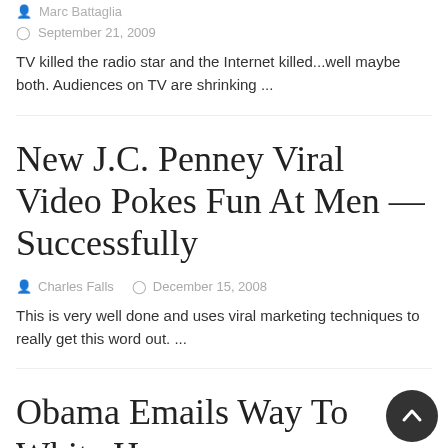Marc Battaglia
September 21, 2009
TV killed the radio star and the Internet killed...well maybe both. Audiences on TV are shrinking ...
New J.C. Penney Viral Video Pokes Fun At Men — Successfully
Charles Falls   December 15, 2008
This is very well done and uses viral marketing techniques to really get this word out. ...
Obama Emails Way To White House